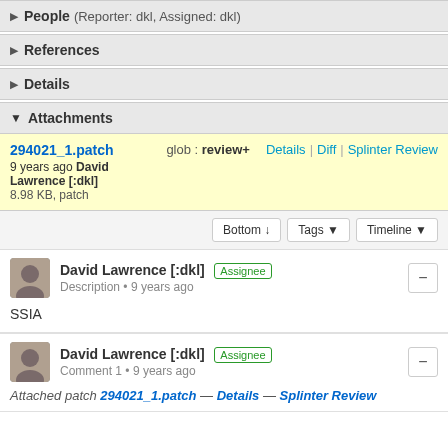People (Reporter: dkl, Assigned: dkl)
References
Details
Attachments
294021_1.patch  glob : review+  Details | Diff | Splinter Review
9 years ago David Lawrence [:dkl]
8.98 KB, patch
Bottom ↓  Tags ▼  Timeline ▼
David Lawrence [:dkl]  Assignee
Description • 9 years ago
SSIA
David Lawrence [:dkl]  Assignee
Comment 1 • 9 years ago
Attached patch 294021_1.patch — Details — Splinter Review